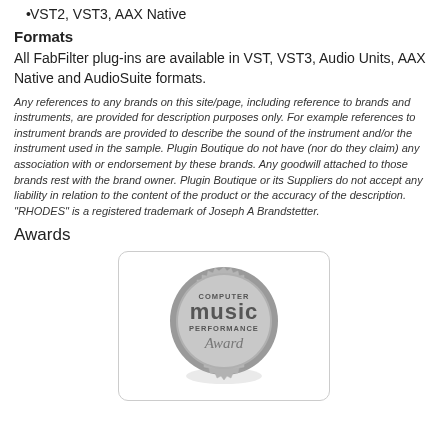VST2, VST3, AAX Native
Formats
All FabFilter plug-ins are available in VST, VST3, Audio Units, AAX Native and AudioSuite formats.
Any references to any brands on this site/page, including reference to brands and instruments, are provided for description purposes only. For example references to instrument brands are provided to describe the sound of the instrument and/or the instrument used in the sample. Plugin Boutique do not have (nor do they claim) any association with or endorsement by these brands. Any goodwill attached to those brands rest with the brand owner. Plugin Boutique or its Suppliers do not accept any liability in relation to the content of the product or the accuracy of the description. "RHODES" is a registered trademark of Joseph A Brandstetter.
Awards
[Figure (logo): Computer Music Performance Award badge/seal in gray tones]